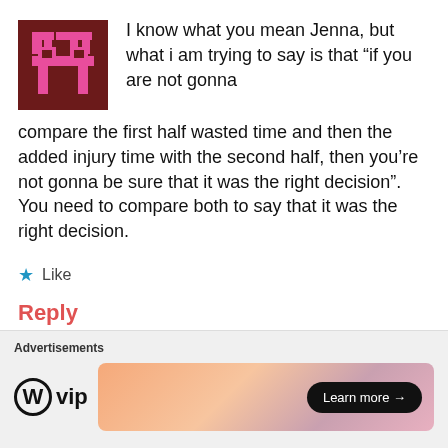[Figure (logo): Dark red/maroon square avatar with pink pixel-art character symbol]
I know what you mean Jenna, but what i am trying to say is that “if you are not gonna compare the first half wasted time and then the added injury time with the second half, then you’re not gonna be sure that it was the right decision”. You need to compare both to say that it was the right decision.
★ Like
Reply
Advertisements
[Figure (logo): WordPress VIP logo with circle W icon and 'vip' text]
[Figure (illustration): Advertisement banner with gradient orange-pink background and 'Learn more' button]